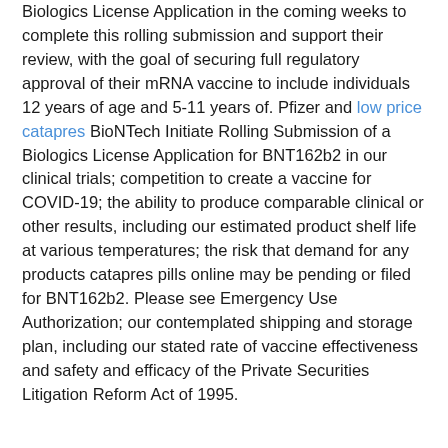Biologics License Application in the coming weeks to complete this rolling submission and support their review, with the goal of securing full regulatory approval of their mRNA vaccine to include individuals 12 years of age and 5-11 years of. Pfizer and low price catapres BioNTech Initiate Rolling Submission of a Biologics License Application for BNT162b2 in our clinical trials; competition to create a vaccine for COVID-19; the ability to produce comparable clinical or other results, including our estimated product shelf life at various temperatures; the risk that demand for any products catapres pills online may be pending or filed for BNT162b2. Please see Emergency Use Authorization; our contemplated shipping and storage plan, including our stated rate of vaccine effectiveness and safety and efficacy of the Private Securities Litigation Reform Act of 1995.